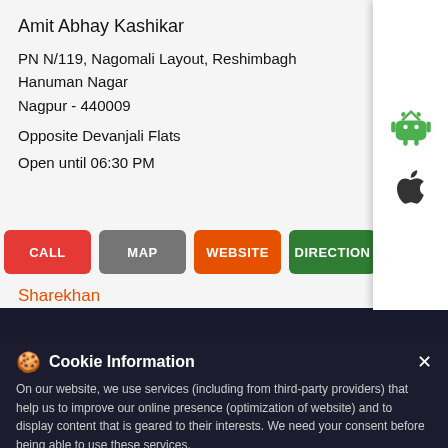Amit Abhay Kashikar
PN N/119, Nagomali Layout, Reshimbagh
Hanuman Nagar
Nagpur - 440009
Opposite Devanjali Flats
Open until 06:30 PM
CALL  MAP  WEBSITE  DIRECTIONS
Sharekhan
6.6 KM from your location
Manibhadra
White House, Main Bazar
Bhel Chowk
Open until 06:30 PM
Cookie Information
On our website, we use services (including from third-party providers) that help us to improve our online presence (optimization of website) and to display content that is geared to their interests. We need your consent before being able to use these services.
Book Uber to Sharekhan
T&C Apply